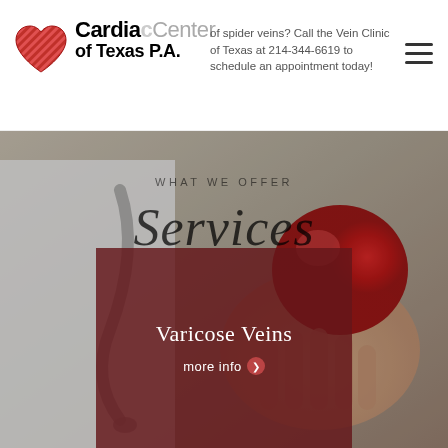[Figure (logo): Cardiac Center of Texas P.A. logo with red heart icon]
of spider veins? Call the Vein Clinic of Texas at 214-544-6619 to schedule an appointment today!
[Figure (photo): Background photo of a doctor in white coat holding a red heart with stethoscope visible]
WHAT WE OFFER
Services
Varicose Veins
more info ❯